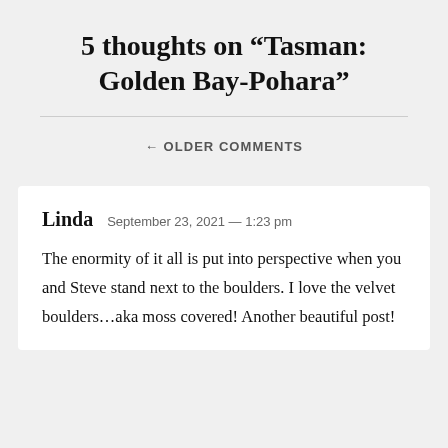5 thoughts on “Tasman: Golden Bay-Pohara”
← OLDER COMMENTS
Linda  September 23, 2021 — 1:23 pm

The enormity of it all is put into perspective when you and Steve stand next to the boulders. I love the velvet boulders…aka moss covered! Another beautiful post!